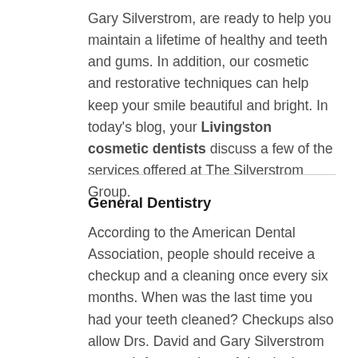Gary Silverstrom, are ready to help you maintain a lifetime of healthy and teeth and gums. In addition, our cosmetic and restorative techniques can help keep your smile beautiful and bright. In today's blog, your Livingston cosmetic dentists discuss a few of the services offered at The Silverstrom Group.
General Dentistry
According to the American Dental Association, people should receive a checkup and a cleaning once every six months. When was the last time you had your teeth cleaned? Checkups also allow Drs. David and Gary Silverstrom to watch for any signs of developing dental issues, such as gum disease and tooth decay. Using the latest in screening technology, your Livingston dentists can also provide oral cancer screenings.